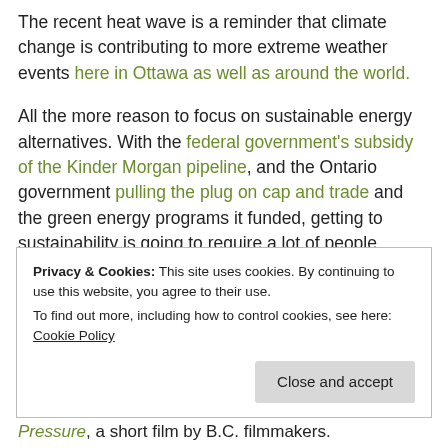The recent heat wave is a reminder that climate change is contributing to more extreme weather events here in Ottawa as well as around the world.
All the more reason to focus on sustainable energy alternatives. With the federal government's subsidy of the Kinder Morgan pipeline, and the Ontario government pulling the plug on cap and trade and the green energy programs it funded, getting to sustainability is going to require a lot of people power.
Privacy & Cookies: This site uses cookies. By continuing to use this website, you agree to their use. To find out more, including how to control cookies, see here: Cookie Policy
Close and accept
Pressure, a short film by B.C. filmmakers.